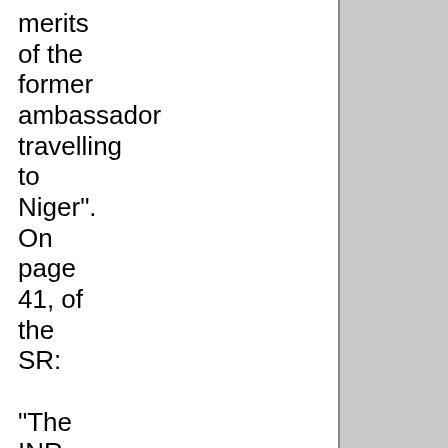merits of the former ambassador travelling to Niger". On page 41, of the SR:

"The INR analyst's notes also indicate that specific details of the classified